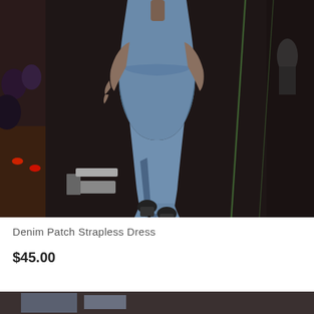[Figure (photo): A plus-size model walking down a dark runway wearing a blue denim patch strapless maxi dress with lighter blue panel inserts and a mermaid-style flare at the bottom. She is wearing black heeled sandals. The runway floor is dark with green tape lines. Audience members are visible in the background on the left side.]
Denim Patch Strapless Dress
$45.00